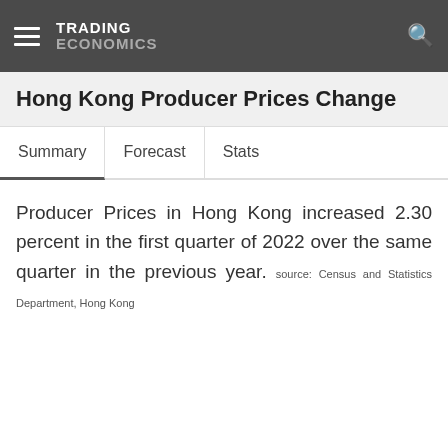TRADING ECONOMICS
Hong Kong Producer Prices Change
Summary   Forecast   Stats
Producer Prices in Hong Kong increased 2.30 percent in the first quarter of 2022 over the same quarter in the previous year. source: Census and Statistics Department, Hong Kong